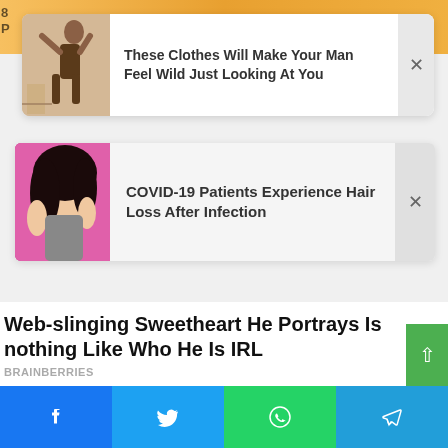[Figure (screenshot): Top partial background with orange/yellow gradient, partially visible text and left-side number '8 P']
[Figure (infographic): Ad card 1: thumbnail image of woman with text 'These Clothes Will Make Your Man Feel Wild Just Looking At You' and close X button]
These Clothes Will Make Your Man Feel Wild Just Looking At You
[Figure (infographic): Ad card 2: thumbnail image of person with hair with text 'COVID-19 Patients Experience Hair Loss After Infection' and close X button]
COVID-19 Patients Experience Hair Loss After Infection
Web-slinging Sweetheart He Portrays Is nothing Like Who He Is IRL
BRAINBERRIES
[Figure (infographic): Bottom social sharing bar with Facebook, Twitter, WhatsApp, and Telegram buttons]